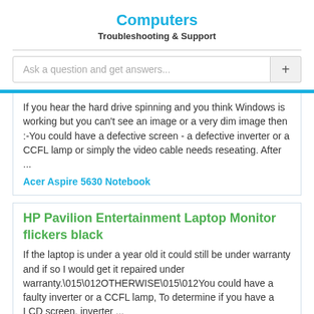Computers
Troubleshooting & Support
Ask a question and get answers...
If you hear the hard drive spinning and you think Windows is working but you can't see an image or a very dim image then :-You could have a defective screen - a defective inverter or a CCFL lamp or simply the video cable needs reseating. After ...
Acer Aspire 5630 Notebook
HP Pavilion Entertainment Laptop Monitor flickers black
If the laptop is under a year old it could still be under warranty and if so I would get it repaired under warranty.\015\012OTHERWISE\015\012You could have a faulty inverter or a CCFL lamp, To determine if you have a LCD screen, inverter ...
Microsoft HP Pavilion DV6276US Notebook PC